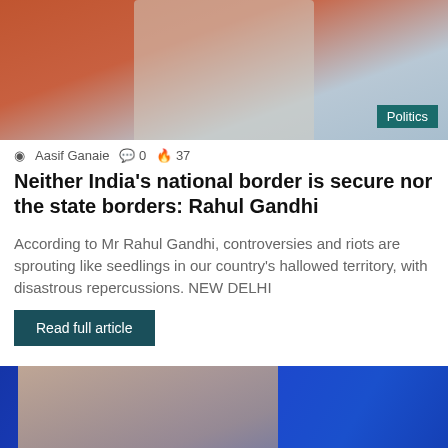[Figure (photo): Top portion of a photo showing a person in a light-colored outfit against an orange and blue background, with a 'Politics' badge in the bottom right corner]
Aasif Ganaie  0  37
Neither India's national border is secure nor the state borders: Rahul Gandhi
According to Mr Rahul Gandhi, controversies and riots are sprouting like seedlings in our country's hallowed territory, with disastrous repercussions. NEW DELHI
Read full article
[Figure (photo): Photo of Rahul Gandhi in profile view against a blue background, raising his index finger, wearing a white shirt]